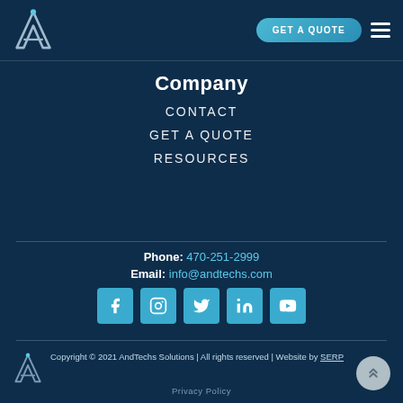AndTechs logo | GET A QUOTE | menu
Company
CONTACT
GET A QUOTE
RESOURCES
Phone: 470-251-2999
Email: info@andtechs.com
[Figure (other): Social media icons row: Facebook, Instagram, Twitter, LinkedIn, YouTube]
Copyright © 2021 AndTechs Solutions | All rights reserved | Website by SERP
Privacy Policy